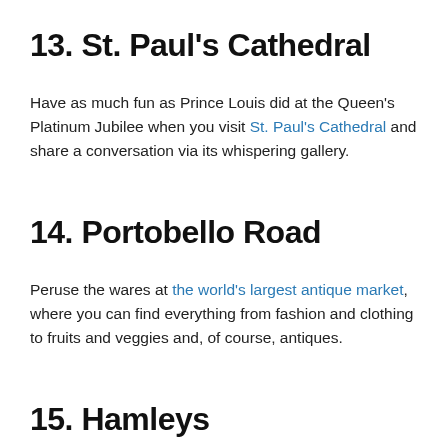13. St. Paul's Cathedral
Have as much fun as Prince Louis did at the Queen's Platinum Jubilee when you visit St. Paul's Cathedral and share a conversation via its whispering gallery.
14. Portobello Road
Peruse the wares at the world's largest antique market, where you can find everything from fashion and clothing to fruits and veggies and, of course, antiques.
15. Hamleys